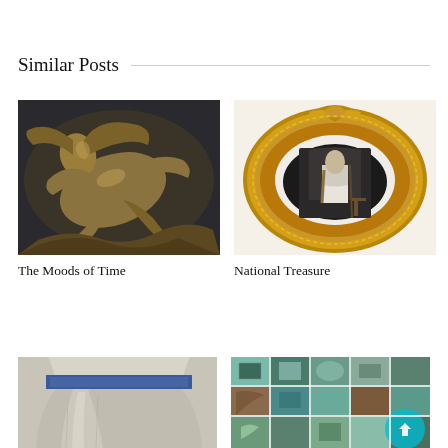Similar Posts
[Figure (photo): Close-up of a bronze sculpture of a reclining nude female figure with flowing hair, appearing to be in motion against a dark background.]
The Moods of Time
[Figure (photo): An ornate gilded oval picture frame with eagle at top containing a black and white photograph of George Washington in Masonic regalia.]
National Treasure
[Figure (photo): Partial view of a ceramic vessel with blue and white glaze decoration, showing the upper portion.]
[Figure (photo): A grid collage of various small artworks and objects in shades of teal, turquoise, blue and brown, with a cyan circle overlay in the lower right.]